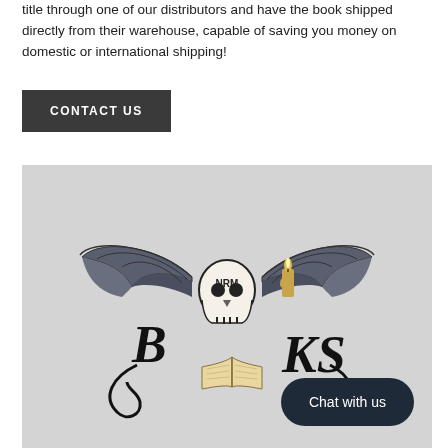title through one of our distributors and have the book shipped directly from their warehouse, capable of saving you money on domestic or international shipping!
CONTACT US
[Figure (logo): NRM Books logo: a skull with bat wings and a candle on top, holding an open book, with stylized gothic lettering spelling BOOKS around the skull. Text reads NRM inside the skull forehead.]
Chat with us